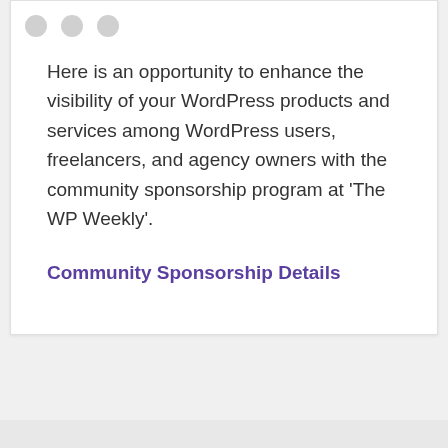Here is an opportunity to enhance the visibility of your WordPress products and services among WordPress users, freelancers, and agency owners with the community sponsorship program at 'The WP Weekly'.
Community Sponsorship Details